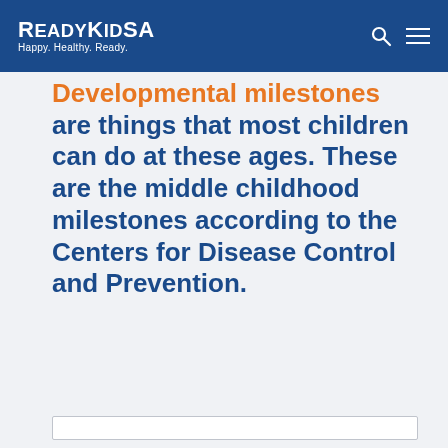ReadyKidSA Happy. Healthy. Ready.
Developmental milestones are things that most children can do at these ages. These are the middle childhood milestones according to the Centers for Disease Control and Prevention.